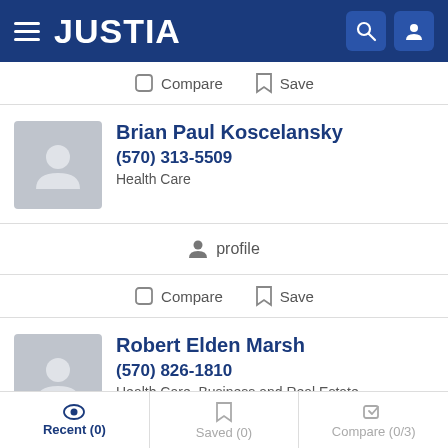JUSTIA
Compare  Save
Brian Paul Koscelansky
(570) 313-5509
Health Care
profile
Compare  Save
Robert Elden Marsh
(570) 826-1810
Health Care, Business and Real Estate
Recent (0)  Saved (0)  Compare (0/3)